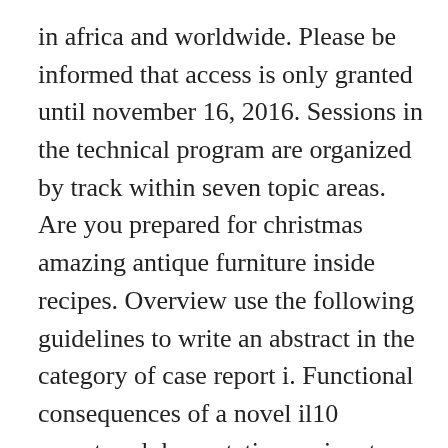in africa and worldwide. Please be informed that access is only granted until november 16, 2016. Sessions in the technical program are organized by track within seven topic areas. Are you prepared for christmas amazing antique furniture inside recipes. Overview use the following guidelines to write an abstract in the category of case report i. Functional consequences of a novel il10 receptor alpha mutation on innate and adaptive immunity in earlyonset inflammatory bowel disease. The effect of soluble carcinoembryonic antigen